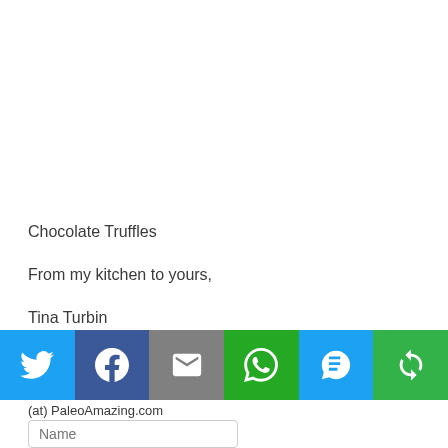Chocolate Truffles
From my kitchen to yours,
Tina Turbin
[Figure (infographic): Social sharing bar with six buttons: Twitter (blue bird icon), Facebook (dark blue F icon), Email (grey envelope icon), WhatsApp (green phone-in-bubble icon), SMS (blue SMS bubble icon), More/Share (green circular arrows icon)]
(at) PaleoAmazing.com
Name (input field), Email (input field), Subscribe (button)